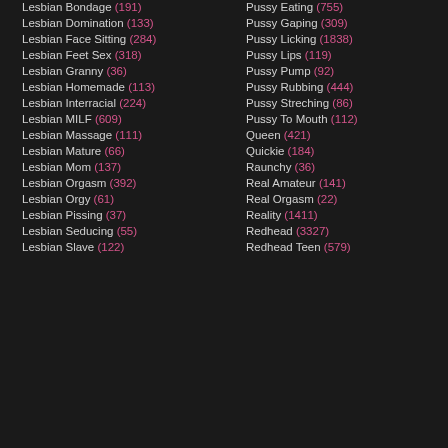Lesbian Bondage (191)
Pussy Eating (755)
Lesbian Domination (133)
Pussy Gaping (309)
Lesbian Face Sitting (284)
Pussy Licking (1838)
Lesbian Feet Sex (318)
Pussy Lips (119)
Lesbian Granny (36)
Pussy Pump (92)
Lesbian Homemade (113)
Pussy Rubbing (444)
Lesbian Interracial (224)
Pussy Streching (86)
Lesbian MILF (609)
Pussy To Mouth (112)
Lesbian Massage (111)
Queen (421)
Lesbian Mature (66)
Quickie (184)
Lesbian Mom (137)
Raunchy (36)
Lesbian Orgasm (392)
Real Amateur (141)
Lesbian Orgy (61)
Real Orgasm (22)
Lesbian Pissing (37)
Reality (1411)
Lesbian Seducing (55)
Redhead (3327)
Lesbian Slave (122)
Redhead Teen (579)